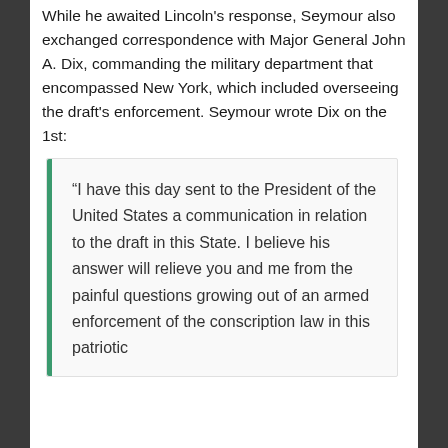While he awaited Lincoln's response, Seymour also exchanged correspondence with Major General John A. Dix, commanding the military department that encompassed New York, which included overseeing the draft's enforcement. Seymour wrote Dix on the 1st:
“I have this day sent to the President of the United States a communication in relation to the draft in this State. I believe his answer will relieve you and me from the painful questions growing out of an armed enforcement of the conscription law in this patriotic